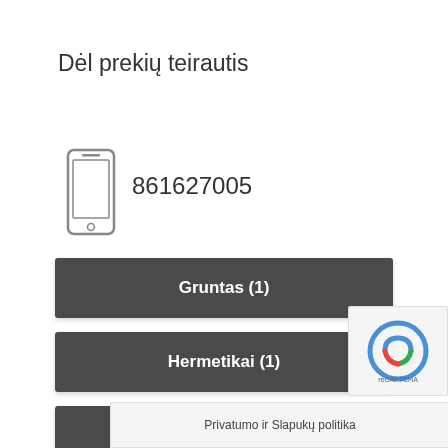Dėl prekių teirautis
[Figure (illustration): Phone/mobile device icon (outline style)]
861627005
Gruntas (1)
Hermetikai (1)
Klijai (2)
Montavimo putos (1)
Privatumo ir Slapukų politika